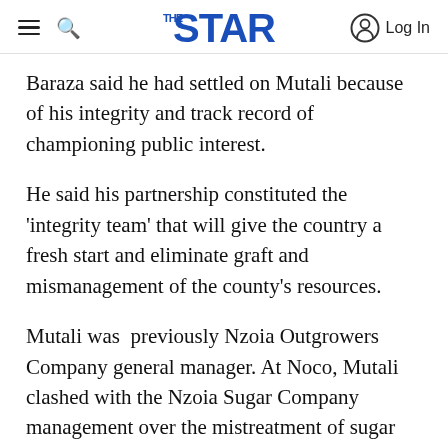THE STAR — Log In
Baraza said he had settled on Mutali because of his integrity and track record of championing public interest.
He said his partnership constituted the 'integrity team' that will give the country a fresh start and eliminate graft and mismanagement of the county's resources.
Mutali was  previously Nzoia Outgrowers Company general manager. At Noco, Mutali clashed with the Nzoia Sugar Company management over the mistreatment of sugar cane farmers.